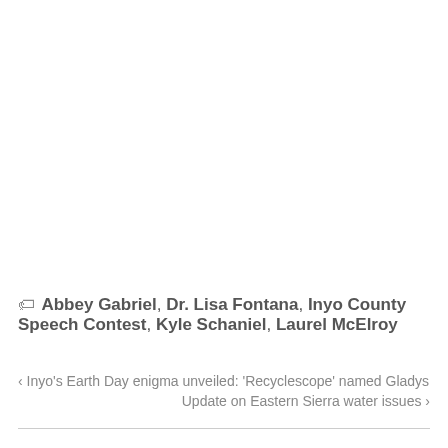🏷 Abbey Gabriel, Dr. Lisa Fontana, Inyo County Speech Contest, Kyle Schaniel, Laurel McElroy
‹ Inyo's Earth Day enigma unveiled: 'Recyclescope' named Gladys
Update on Eastern Sierra water issues ›